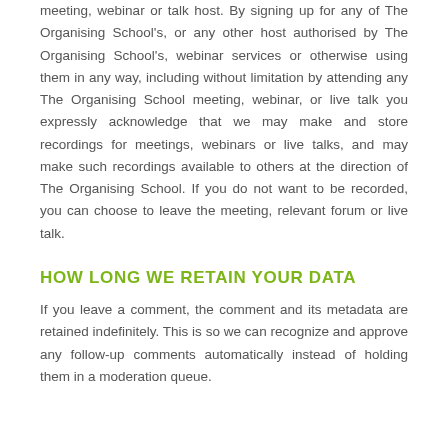meeting, webinar or talk host. By signing up for any of The Organising School's, or any other host authorised by The Organising School's, webinar services or otherwise using them in any way, including without limitation by attending any The Organising School meeting, webinar, or live talk you expressly acknowledge that we may make and store recordings for meetings, webinars or live talks, and may make such recordings available to others at the direction of The Organising School. If you do not want to be recorded, you can choose to leave the meeting, relevant forum or live talk.
HOW LONG WE RETAIN YOUR DATA
If you leave a comment, the comment and its metadata are retained indefinitely. This is so we can recognize and approve any follow-up comments automatically instead of holding them in a moderation queue.